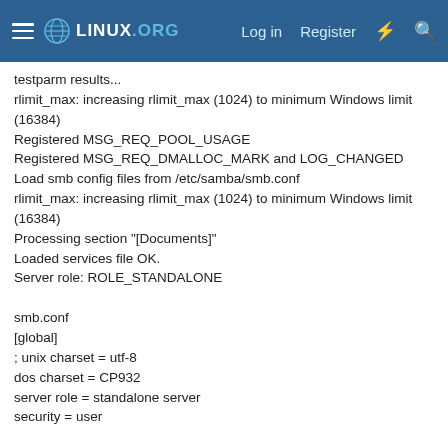LINUX.ORG  Log in  Register
testparm results...
rlimit_max: increasing rlimit_max (1024) to minimum Windows limit (16384)
Registered MSG_REQ_POOL_USAGE
Registered MSG_REQ_DMALLOC_MARK and LOG_CHANGED
Load smb config files from /etc/samba/smb.conf
rlimit_max: increasing rlimit_max (1024) to minimum Windows limit (16384)
Processing section "[Documents]"
Loaded services file OK.
Server role: ROLE_STANDALONE

smb.conf
[global]
; unix charset = utf-8
dos charset = CP932
server role = standalone server
security = user